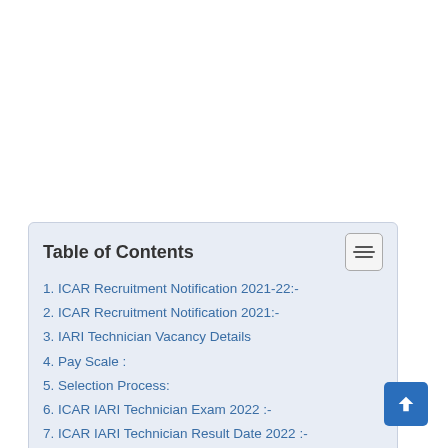Table of Contents
1. ICAR Recruitment Notification 2021-22:-
2. ICAR Recruitment Notification 2021:-
3. IARI Technician Vacancy Details
4. Pay Scale :
5. Selection Process:
6. ICAR IARI Technician Exam 2022 :-
7. ICAR IARI Technician Result Date 2022 :-
8. How to Check ICAR IARI Result 2022 :-
9. Important Link :-